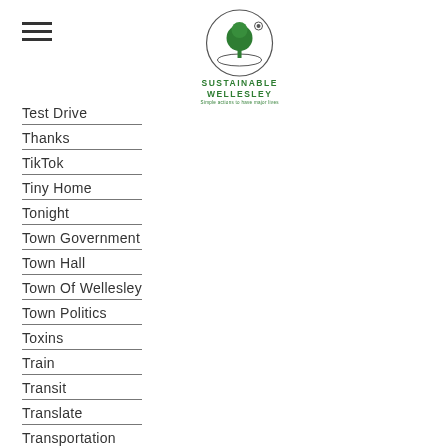[Figure (logo): Sustainable Wellesley logo with tree icon and tagline 'Simple Actions to have major lives']
Test Drive
Thanks
TikTok
Tiny Home
Tonight
Town Government
Town Hall
Town Of Wellesley
Town Politics
Toxins
Train
Transit
Translate
Transportation